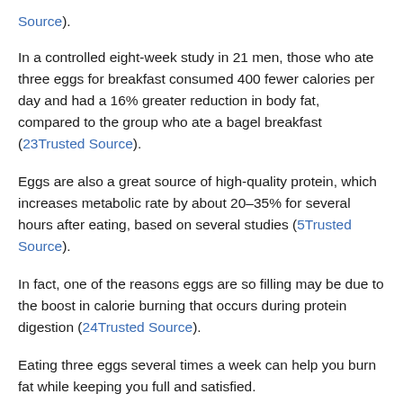Source).
In a controlled eight-week study in 21 men, those who ate three eggs for breakfast consumed 400 fewer calories per day and had a 16% greater reduction in body fat, compared to the group who ate a bagel breakfast (23Trusted Source).
Eggs are also a great source of high-quality protein, which increases metabolic rate by about 20–35% for several hours after eating, based on several studies (5Trusted Source).
In fact, one of the reasons eggs are so filling may be due to the boost in calorie burning that occurs during protein digestion (24Trusted Source).
Eating three eggs several times a week can help you burn fat while keeping you full and satisfied.
5. Coconut Oil